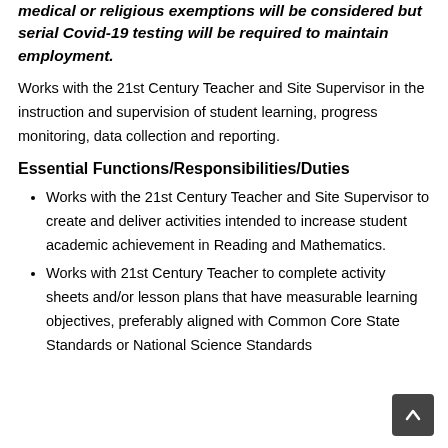medical or religious exemptions will be considered but serial Covid-19 testing will be required to maintain employment.
Works with the 21st Century Teacher and Site Supervisor in the instruction and supervision of student learning, progress monitoring, data collection and reporting.
Essential Functions/Responsibilities/Duties
Works with the 21st Century Teacher and Site Supervisor to create and deliver activities intended to increase student academic achievement in Reading and Mathematics.
Works with 21st Century Teacher to complete activity sheets and/or lesson plans that have measurable learning objectives, preferably aligned with Common Core State Standards or National Science Standards